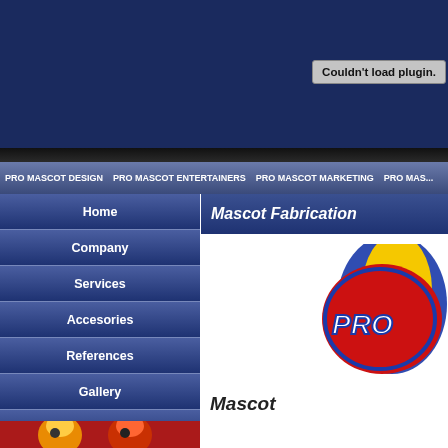[Figure (screenshot): Dark navy blue top banner background]
Couldn't load plugin.
PRO MASCOT DESIGN   PRO MASCOT ENTERTAINERS   PRO MASCOT MARKETING   PRO MAS...
Home
Company
Services
Accesories
References
Gallery
Price List
Contact Us
Mascot Fabrication
[Figure (logo): Pro mascot colorful logo partially visible - red, blue, yellow colors]
Mascot
[Figure (photo): Two colorful bird/chicken mascot costumes on red background]